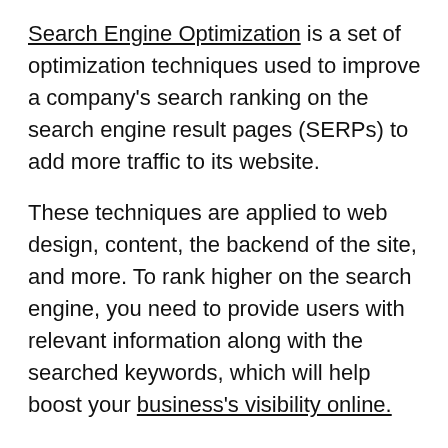Search Engine Optimization is a set of optimization techniques used to improve a company's search ranking on the search engine result pages (SERPs) to add more traffic to its website.
These techniques are applied to web design, content, the backend of the site, and more. To rank higher on the search engine, you need to provide users with relevant information along with the searched keywords, which will help boost your business's visibility online.
How to use SEO